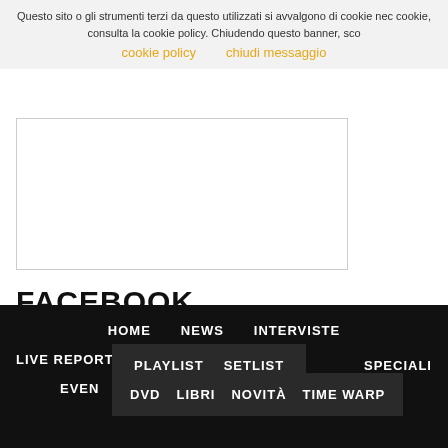Questo sito o gli strumenti terzi da questo utilizzati si avvalgono di cookie nec cookie, consulta la cookie policy. Chiudendo questo banner, sco
cookie policy   chiudi messaggio
[Figure (other): White rectangular box with border]
FACEBOOK
HOME   NEWS   INTERVISTE   LIVE REPORT   PLAYLIST   SETLIST   SPECIALI   EVEN   DVD   LIBRI   NOVITÀ   TIME WARP